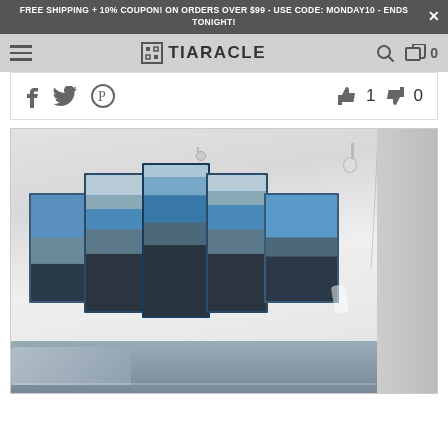FREE SHIPPING + 10% COUPON! ON ORDERS OVER $99 - USE CODE: MONDAY10 - ENDS TONIGHT!
[Figure (screenshot): Tiaracle website navigation bar with hamburger menu, logo, search icon, and cart icon showing 0 items]
[Figure (screenshot): Social sharing bar with Facebook, Twitter, Pinterest icons and thumbs up (1) and thumbs down (0) vote buttons]
[Figure (photo): Room interior photo showing a 5-panel wall art of an aircraft carrier mounted on a white wall, with ceiling lights visible and a bed with grey pillows at the bottom]